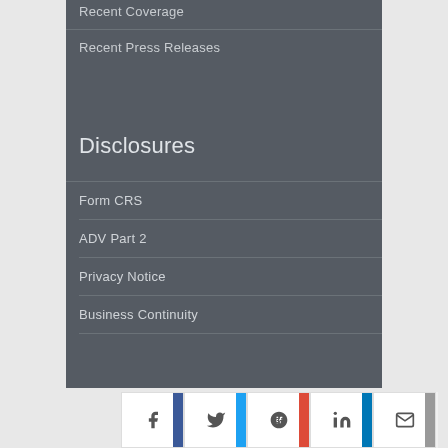Recent Coverage
Recent Press Releases
Disclosures
Form CRS
ADV Part 2
Privacy Notice
Business Continuity
[Figure (other): Social media share buttons: Facebook, Twitter, Google+, LinkedIn, Email]